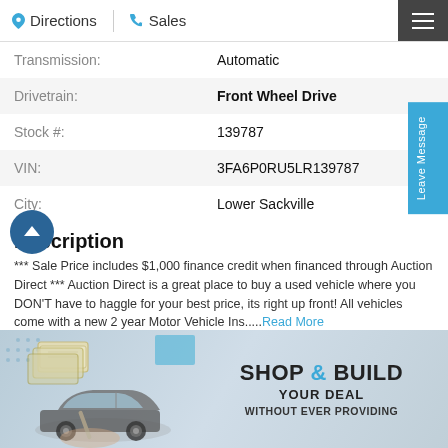Directions | Sales
| Label | Value |
| --- | --- |
| Transmission: | Automatic |
| Drivetrain: | Front Wheel Drive |
| Stock #: | 139787 |
| VIN: | 3FA6P0RU5LR139787 |
| City: | Lower Sackville |
Description
*** Sale Price includes $1,000 finance credit when financed through Auction Direct *** Auction Direct is a great place to buy a used vehicle where you DON'T have to haggle for your best price, its right up front! All vehicles come with a new 2 year Motor Vehicle Ins..... Read More
[Figure (illustration): Shop & Build Your Deal promotional banner with car illustration, cash/money drawings, and text 'SHOP & BUILD YOUR DEAL WITHOUT EVER PROVIDING']